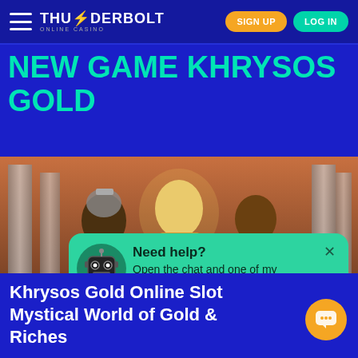THUNDERBOLT ONLINE CASINO — SIGN UP | LOG IN
NEW GAME KHRYSOS GOLD
[Figure (screenshot): Game banner image showing ancient Greek/mythological characters including warriors and a blonde woman in front of columns]
Need help? Open the chat and one of my friends will assist you!
Kh... ...es
Khrysos Gold Online Slot Mystical World of Gold & Riches